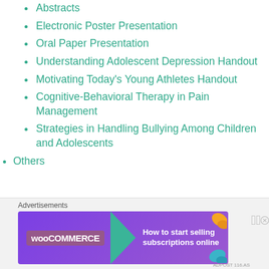Abstracts
Electronic Poster Presentation
Oral Paper Presentation
Understanding Adolescent Depression Handout
Motivating Today’s Young Athletes Handout
Cognitive-Behavioral Therapy in Pain Management
Strategies in Handling Bullying Among Children and Adolescents
Others
Archives
[Figure (other): WooCommerce advertisement banner: purple background with WooCommerce logo, green arrow shape, text 'How to start selling subscriptions online', orange and blue leaf decorations.]